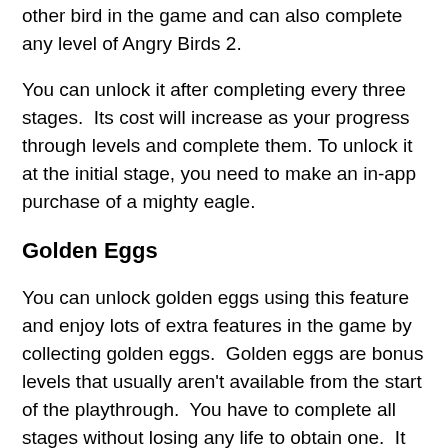other bird in the game and can also complete any level of Angry Birds 2.
You can unlock it after completing every three stages.  Its cost will increase as your progress through levels and complete them. To unlock it at the initial stage, you need to make an in-app purchase of a mighty eagle.
Golden Eggs
You can unlock golden eggs using this feature and enjoy lots of extra features in the game by collecting golden eggs.  Golden eggs are bonus levels that usually aren't available from the start of the playthrough.  You have to complete all stages without losing any life to obtain one.  It takes some planning and strategy to obtain all the